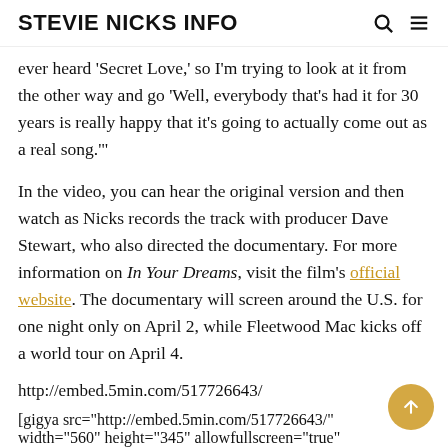STEVIE NICKS INFO
ever heard ‘Secret Love,’ so I’m trying to look at it from the other way and go ‘Well, everybody that’s had it for 30 years is really happy that it’s going to actually come out as a real song.’”
In the video, you can hear the original version and then watch as Nicks records the track with producer Dave Stewart, who also directed the documentary. For more information on In Your Dreams, visit the film’s official website. The documentary will screen around the U.S. for one night only on April 2, while Fleetwood Mac kicks off a world tour on April 4.
http://embed.5min.com/517726643/
[gigya src=“http://embed.5min.com/517726643/” width=‘560’ height=‘345’ allowfullscreen=“true”